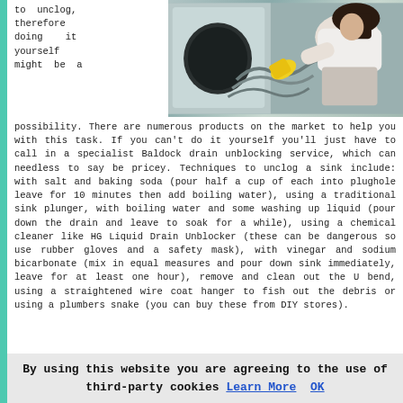to unclog, therefore doing it yourself might be a
[Figure (photo): A person wearing yellow rubber gloves and white top using a plumbers snake/drain cable to unblock a drain, crouching near a washing machine or appliance.]
possibility. There are numerous products on the market to help you with this task. If you can't do it yourself you'll just have to call in a specialist Baldock drain unblocking service, which can needless to say be pricey. Techniques to unclog a sink include: with salt and baking soda (pour half a cup of each into plughole leave for 10 minutes then add boiling water), using a traditional sink plunger, with boiling water and some washing up liquid (pour down the drain and leave to soak for a while), using a chemical cleaner like HG Liquid Drain Unblocker (these can be dangerous so use rubber gloves and a safety mask), with vinegar and sodium bicarbonate (mix in equal measures and pour down sink immediately, leave for at least one hour), remove and clean out the U bend, using a straightened wire coat hanger to fish out the debris or using a plumbers snake (you can buy these from DIY stores).
By using this website you are agreeing to the use of third-party cookies Learn More OK